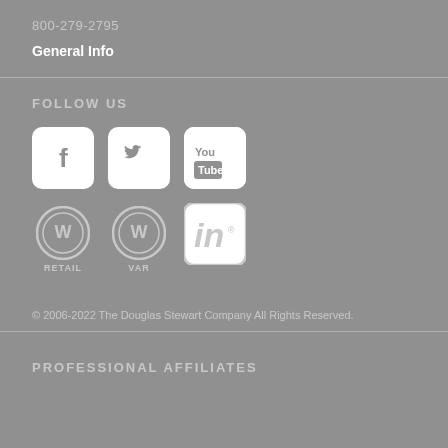800-279-2795
General Info
FOLLOW US
[Figure (logo): Social media icons: Facebook, Twitter, YouTube (row 1); WordPress Retail, WordPress VAR, LinkedIn (row 2)]
© 2006-2022 The Douglas Stewart Company All Rights Reserved.
PROFESSIONAL AFFILIATES